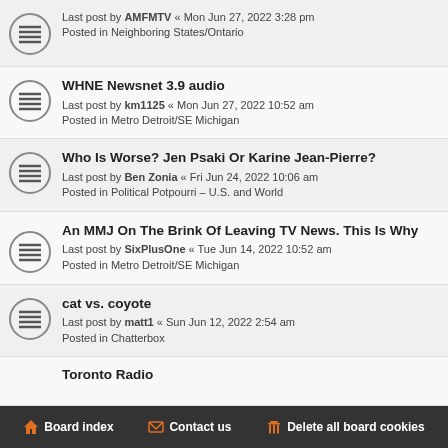Last post by AMFMTV « Mon Jun 27, 2022 3:28 pm
Posted in Neighboring States/Ontario
WHNE Newsnet 3.9 audio
Last post by km1125 « Mon Jun 27, 2022 10:52 am
Posted in Metro Detroit/SE Michigan
Who Is Worse? Jen Psaki Or Karine Jean-Pierre?
Last post by Ben Zonia « Fri Jun 24, 2022 10:06 am
Posted in Political Potpourri – U.S. and World
An MMJ On The Brink Of Leaving TV News. This Is Why
Last post by SixPlusOne « Tue Jun 14, 2022 10:52 am
Posted in Metro Detroit/SE Michigan
cat vs. coyote
Last post by matt1 « Sun Jun 12, 2022 2:54 am
Posted in Chatterbox
Toronto Radio
Board index   Contact us   Delete all board cookies